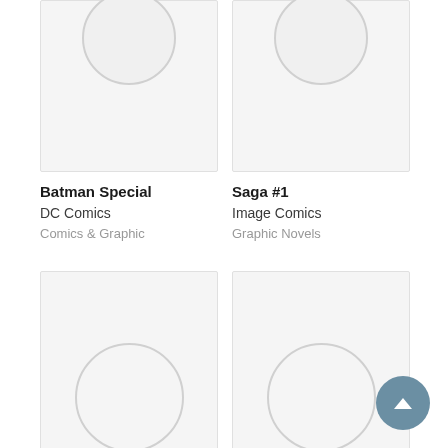[Figure (illustration): Book cover placeholder image for Batman Special — grey card with circular placeholder icon at top]
Batman Special
DC Comics
Comics & Graphic
[Figure (illustration): Book cover placeholder image for Saga #1 — grey card with circular placeholder icon at top]
Saga #1
Image Comics
Graphic Novels
[Figure (illustration): Book cover placeholder image for Free Comic Book Day — grey card with full circular placeholder icon]
Free Comic Book Day
[Figure (illustration): Book cover placeholder image for Dracula Everlasting — grey card with full circular placeholder icon]
Dracula Everlasting,